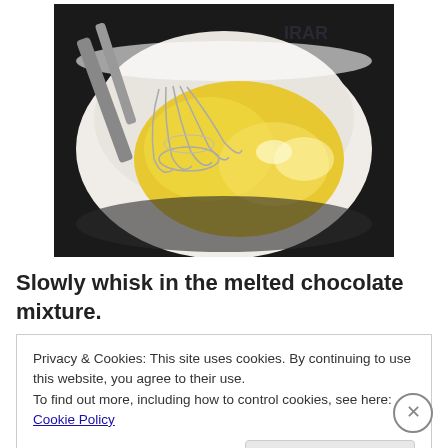[Figure (photo): A white ceramic bowl with beaten eggs (yellow yolk mixed) and a metal whisk resting inside the bowl, viewed from above on a dark background.]
Slowly whisk in the melted chocolate mixture.
Privacy & Cookies: This site uses cookies. By continuing to use this website, you agree to their use.
To find out more, including how to control cookies, see here: Cookie Policy
Close and accept